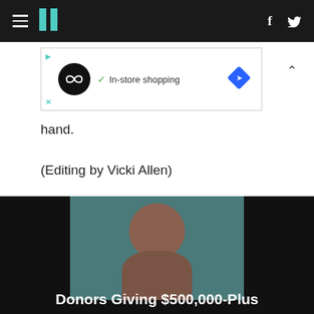HuffPost navigation bar with hamburger menu, logo, Facebook and Twitter icons
[Figure (screenshot): Advertisement banner showing a circular black logo with infinity symbol, checkmark with 'In-store shopping' text, and a blue diamond navigation icon]
hand.
(Editing by Vicki Allen)
Below, a list of super PAC donors trying to make an impact on the 2012 elections:
[Figure (photo): Photo of a person against a teal/dark background, with caption 'Donors Giving $500,000-Plus']
Donors Giving $500,000-Plus